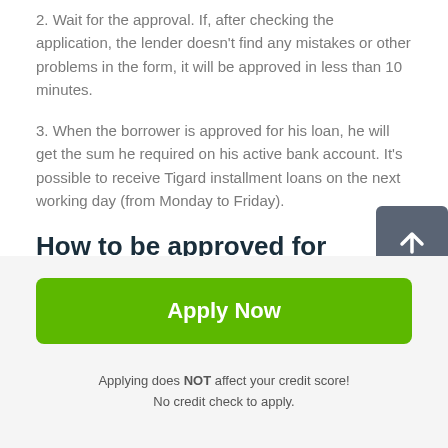2. Wait for the approval. If, after checking the application, the lender doesn't find any mistakes or other problems in the form, it will be approved in less than 10 minutes.
3. When the borrower is approved for his loan, he will get the sum he required on his active bank account. It's possible to receive Tigard installment loans on the next working day (from Monday to Friday).
How to be approved for installment loans Tigard in Oregon OR
Applying does NOT affect your credit score! No credit check to apply.